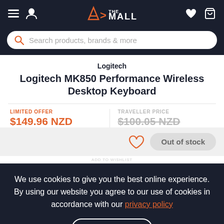A> THE MALL
Search products, brands & more
Logitech
Logitech MK850 Performance Wireless Desktop Keyboard
LIMITED OFFER $149.96 NZD | TRAVELLER PRICE $100.05 NZD
Out of stock
We use cookies to give you the best online experience. By using our website you agree to our use of cookies in accordance with our privacy policy
Continue